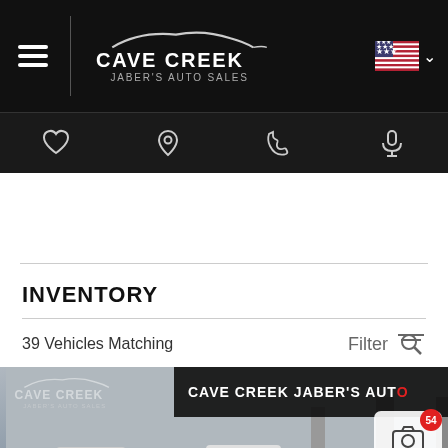[Figure (screenshot): Cave Creek Jaber's Auto Sales website header with black navigation bar showing hamburger menu, logo, US flag with dropdown, and icon bar with heart, location pin, phone, and microphone icons.]
INVENTORY
39 Vehicles Matching
Filter
[Figure (photo): Car dealership photo showing a dark sedan in foreground with Cave Creek Jaber's Auto Sales branding banner, camera icon with count 54, and chat button overlay.]